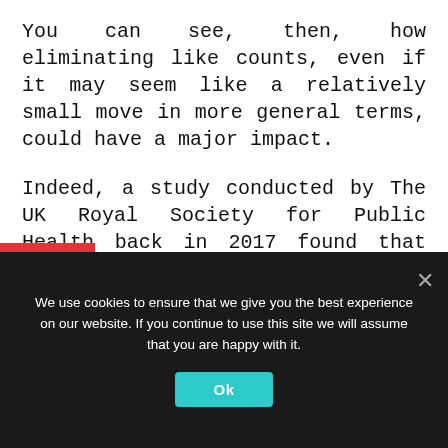You can see, then, how eliminating like counts, even if it may seem like a relatively small move in more general terms, could have a major impact.
Indeed, a study conducted by The UK Royal Society for Public Health back in 2017 found that Instagram was the worst social media network for mental health and wellbeing among teens and young adults, with the platform closely linked to issues with anxiety, depression, bullying and FOMO.
We use cookies to ensure that we give you the best experience on our website. If you continue to use this site we will assume that you are happy with it.